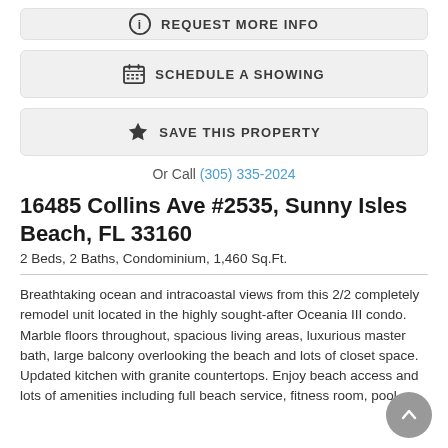[Figure (other): Request More Info button with info icon]
[Figure (other): Schedule a Showing button with calendar icon]
[Figure (other): Save This Property button with star icon]
Or Call (305) 335-2024
16485 Collins Ave #2535, Sunny Isles Beach, FL 33160
2 Beds, 2 Baths, Condominium, 1,460 Sq.Ft.
Breathtaking ocean and intracoastal views from this 2/2 completely remodel unit located in the highly sought-after Oceania III condo. Marble floors throughout, spacious living areas, luxurious master bath, large balcony overlooking the beach and lots of closet space. Updated kitchen with granite countertops. Enjoy beach access and lots of amenities including full beach service, fitness room, pool